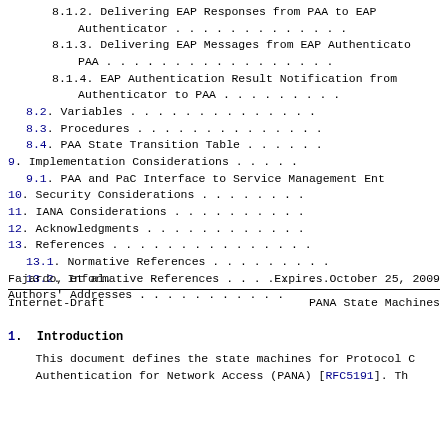8.1.2. Delivering EAP Responses from PAA to EAP Authenticator . . . . . . . . . . . . .
8.1.3. Delivering EAP Messages from EAP Authenticator to PAA . . . . . . . . . . . . .
8.1.4. EAP Authentication Result Notification from Authenticator to PAA . . . . . . . . . . . .
8.2. Variables . . . . . . . . . . . . . . .
8.3. Procedures . . . . . . . . . . . . . .
8.4. PAA State Transition Table . . . . . .
9. Implementation Considerations . . . . .
9.1. PAA and PaC Interface to Service Management Ent
10. Security Considerations . . . . . . . .
11. IANA Considerations . . . . . . . . . .
12. Acknowledgments . . . . . . . . . . . .
13. References . . . . . . . . . . . . . .
13.1. Normative References . . . . . . . .
13.2. Informative References . . . . . . .
Authors' Addresses . . . . . . . . . . . .
Fajardo, et al.         Expires October 25, 2009
Internet-Draft          PANA State Machines
1.  Introduction
This document defines the state machines for Protocol C Authentication for Network Access (PANA) [RFC5191]. Th